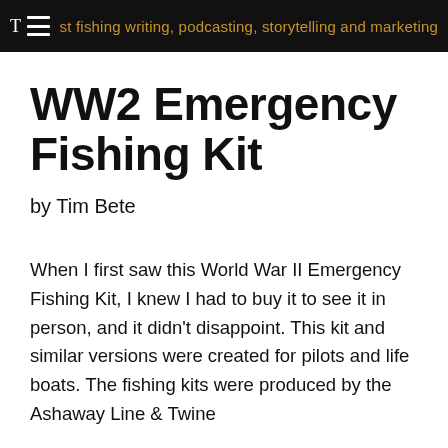T st fishing writing, podcasting, storytelling and marketing
WW2 Emergency Fishing Kit
by Tim Bete
When I first saw this World War II Emergency Fishing Kit, I knew I had to buy it to see it in person, and it didn't disappoint. This kit and similar versions were created for pilots and life boats. The fishing kits were produced by the Ashaway Line & Twine